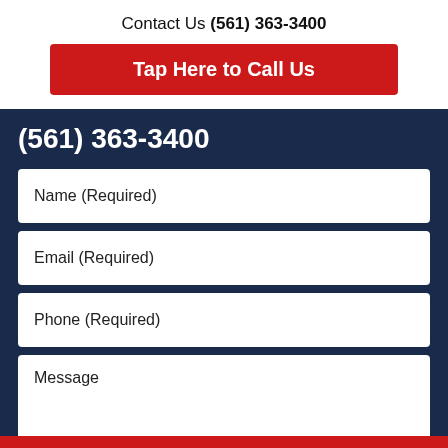Contact Us (561) 363-3400
Tap Here to Call Us
(561) 363-3400
Name (Required)
Email (Required)
Phone (Required)
Message